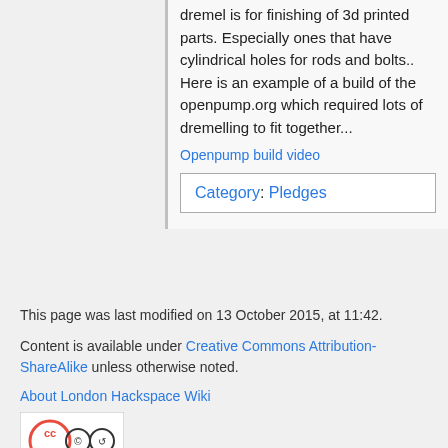dremel is for finishing of 3d printed parts. Especially ones that have cylindrical holes for rods and bolts.. Here is an example of a build of the openpump.org which required lots of dremelling to fit together...
Openpump build video
Category: Pledges
This page was last modified on 13 October 2015, at 11:42.
Content is available under Creative Commons Attribution-ShareAlike unless otherwise noted.
About London Hackspace Wiki
[Figure (logo): Creative Commons BY-SA license badge]
[Figure (logo): Powered by MediaWiki badge]
[Figure (logo): Semantic MediaWiki badge]